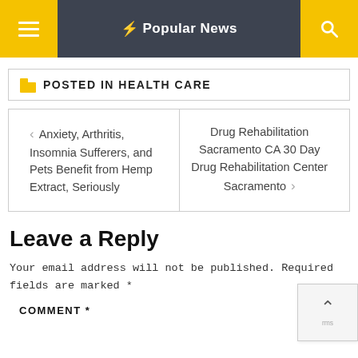Popular News
POSTED IN HEALTH CARE
| Anxiety, Arthritis, Insomnia Sufferers, and Pets Benefit from Hemp Extract, Seriously | Drug Rehabilitation Sacramento CA 30 Day Drug Rehabilitation Center Sacramento |
Leave a Reply
Your email address will not be published. Required fields are marked *
COMMENT *